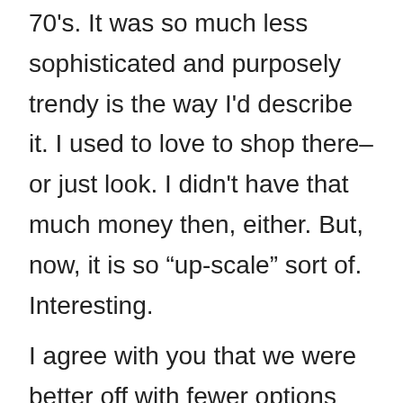70's. It was so much less sophisticated and purposely trendy is the way I'd describe it. I used to love to shop there–or just look. I didn't have that much money then, either. But, now, it is so "up-scale" sort of. Interesting.

I agree with you that we were better off with fewer options and sources. Sometimes the alternatives now are overwhelming. A person can become immobilized and not be able to make